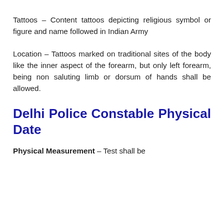Tattoos – Content tattoos depicting religious symbol or figure and name followed in Indian Army
Location – Tattoos marked on traditional sites of the body like the inner aspect of the forearm, but only left forearm, being non saluting limb or dorsum of hands shall be allowed.
Delhi Police Constable Physical Date
Physical Measurement – Test shall be